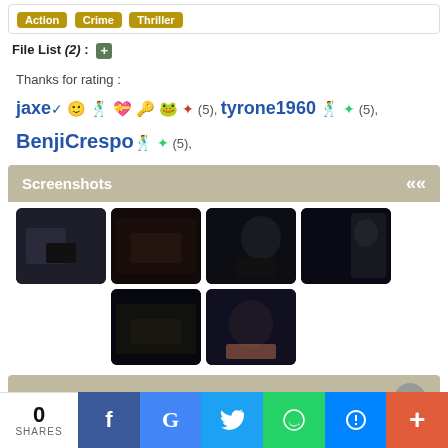Action  Crime  Thriller
File List (2) : +
Thanks for rating : jaxe ✓ 🙂 🕺 💝 🔑 🐸 ✦ (5), tyrone1960 🕺 ✦ (5), BenjiCrespo 🕺 ✦ (5),
Screenshots
[Figure (photo): Six dark movie screenshots arranged in a grid: man with instrument, dark bar scene, silhouette of person, people in doorway, industrial/bar scene, man in pink shirt looking up.]
Similar torrents
0 SHARES — social share bar with Facebook, Google, Twitter, WhatsApp, Messenger, More buttons